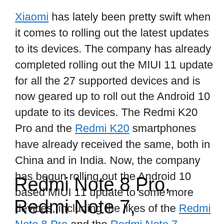Xiaomi has lately been pretty swift when it comes to rolling out the latest updates to its devices. The company has already completed rolling out the MIUI 11 update for all the 27 supported devices and is now geared up to roll out the Android 10 update to its devices. The Redmi K20 Pro and the Redmi K20 smartphones have already received the same, both in China and in India. Now, the company has begun rolling out the Android 10 based MIUI 11 update to some more devices, including the likes of the Redmi Note 8 Pro and the Redmi Note 7 devices. Let's have a look at the Xiaomi devices that are receiving the latest Android 10 update.
Redmi Note 8 Pro, Redmi Note 7,